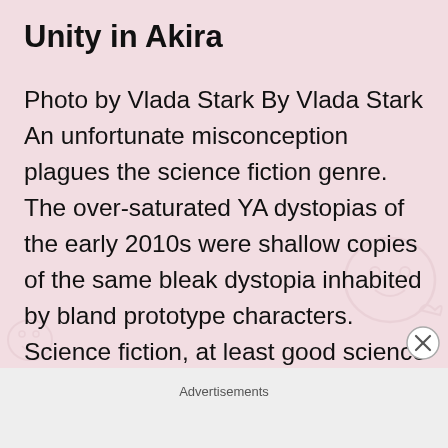Unity in Akira
Photo by Vlada Stark By Vlada Stark An unfortunate misconception plagues the science fiction genre. The over-saturated YA dystopias of the early 2010s were shallow copies of the same bleak dystopia inhabited by bland prototype characters. Science fiction, at least good science fiction, simply exaggerates the perplexities of the human experience. Which is why the… Continue reading
Advertisements